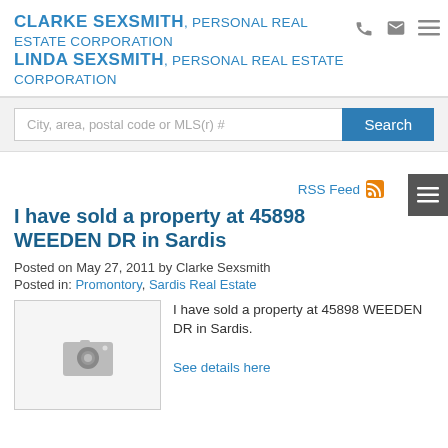CLARKE SEXSMITH, PERSONAL REAL ESTATE CORPORATION
LINDA SEXSMITH, PERSONAL REAL ESTATE CORPORATION
City, area, postal code or MLS(r) #
Search
RSS Feed
I have sold a property at 45898 WEEDEN DR in Sardis
Posted on May 27, 2011 by Clarke Sexsmith
Posted in: Promontory, Sardis Real Estate
[Figure (photo): Placeholder camera icon image for property listing]
I have sold a property at 45898 WEEDEN DR in Sardis.

See details here